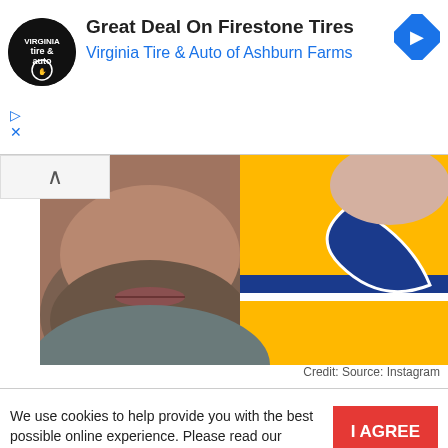[Figure (infographic): Advertisement banner for Virginia Tire & Auto of Ashburn Farms featuring Firestone Tires deal, with circular logo, navigation arrow icon, and ad controls]
[Figure (photo): Close-up selfie photo of a man with gray stubble beard wearing a hoodie, next to a person wearing a yellow St. Louis Blues hockey jersey]
Credit: Source: Instagram
We use cookies to help provide you with the best possible online experience. Please read our Privacy Policy for information about which cookies we use and what information we collect on our site. By continuing to use this site, you agree that we may store and access cookies on your device.